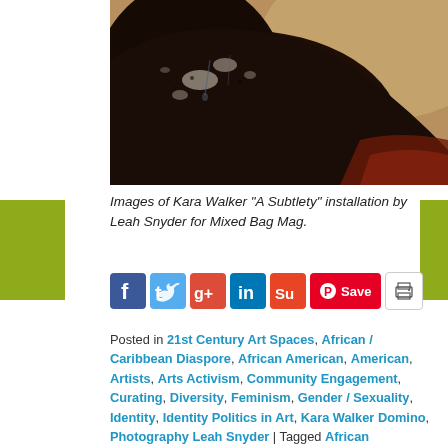[Figure (photo): Close-up photograph of Kara Walker 'A Subtlety' installation — dark sculptural surface with textured black and brown material, patches of white powder/residue, with warm beige background visible at top right and dark reddish-brown tones at lower right.]
Images of Kara Walker "A Subtlety" installation by Leah Snyder for Mixed Bag Mag.
[Figure (infographic): Social sharing buttons: Facebook, Twitter, Google+, LinkedIn, StumbleUpon, Pinterest Save button, Print button]
Posted in 21st Century Art Spaces, African / Caribbean Diaspore, African American, American, Artists, Arts Activism, Community Engagement, Curating, Diversity, Feminism, Gender / Sexuality, Identity, Identity Politics in Art, Kara Walker Domino, Photography Leah Snyder | Tagged African American, American, Art, Artist, Black artists, Brooklyn, class, Colorlines, contemporary, Creative Time, Curating, Enwidge Danticat, Identity, International Society for Krishna Consciouness, Jamilah